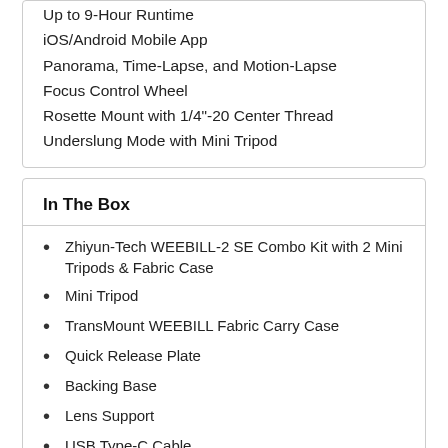Up to 9-Hour Runtime
iOS/Android Mobile App
Panorama, Time-Lapse, and Motion-Lapse
Focus Control Wheel
Rosette Mount with 1/4"-20 Center Thread
Underslung Mode with Mini Tripod
In The Box
Zhiyun-Tech WEEBILL-2 SE Combo Kit with 2 Mini Tripods & Fabric Case
Mini Tripod
TransMount WEEBILL Fabric Carry Case
Quick Release Plate
Backing Base
Lens Support
USB Type-C Cable
Canon Camera Control Cable 1